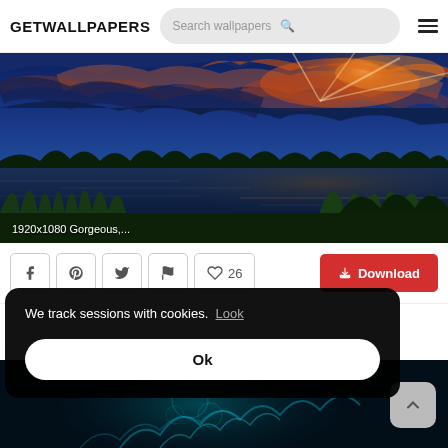GETWALLPAPERS  Search wallpapers  ≡
[Figure (photo): HDR sunset over a lake with dramatic clouds, green reeds and trees silhouetted, reflection on water. Label: 1920x1080 Gorgeous,...]
1920x1080 Gorgeous,...
Social share icons (Facebook, Pinterest, Twitter, Flag) | ♡ 26 | ↓ Download
We track sessions with cookies. Look
Ok
[Figure (photo): Dark blue/teal abstract smoke or liquid art on dark background, bottom portion of the page]